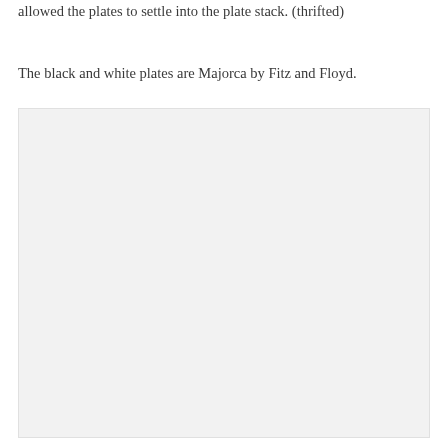allowed the plates to settle into the plate stack. (thrifted)
The black and white plates are Majorca by Fitz and Floyd.
[Figure (photo): A photo placeholder with light gray background, likely showing plates or a table setting.]